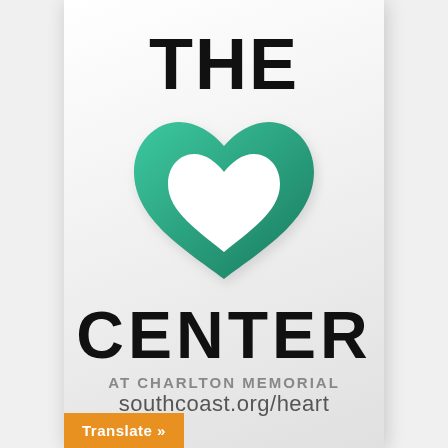THE
[Figure (logo): Teal/green heart logo with an outline cutout inside, gradient from teal to dark green]
CENTER
AT CHARLTON MEMORIAL
southcoast.org/heart
Translate »